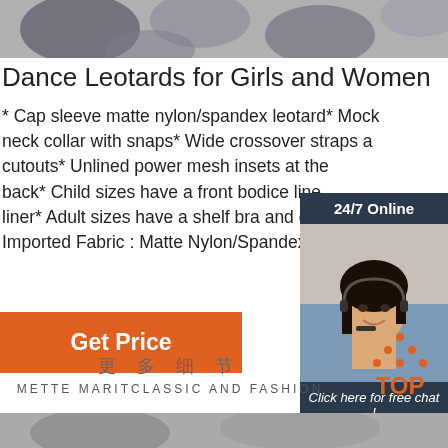[Figure (photo): Top decorative floral/fabric image banner]
Dance Leotards for Girls and Women
* Cap sleeve matte nylon/spandex leotard* Mock neck collar with snaps* Wide crossover straps and cutouts* Unlined power mesh insets at the back* Child sizes have a front bodice liner* Adult sizes have a shelf bra and cro Imported Fabric : Matte Nylon/Spandex.
[Figure (photo): 24/7 Online chat widget with customer service representative photo, italic text 'Click here for free chat!' and orange QUOTATION button]
[Figure (other): Orange 'Get Price' button]
更 多 细 节
METTE MARITCLASSIC AND FASHION
[Figure (logo): TOP logo with orange dots forming triangle above text TOP in orange]
[Figure (photo): Bottom partial product/fabric image]